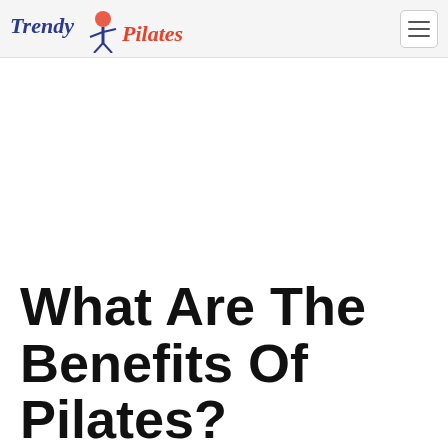Trendy Pilates
What Are The Benefits Of Pilates?